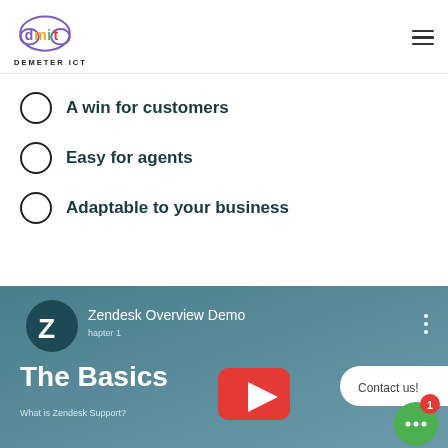[Figure (logo): Demeter ICT logo with cloud shape containing 'dmit' text and 'DEMETER ICT' below]
A win for customers
Easy for agents
Adaptable to your business
[Figure (screenshot): YouTube video thumbnail: Zendesk Overview Demo - The Basics - What is Zendesk Support? With a Contact us! chat bubble and green chat icon with notification badge 1]